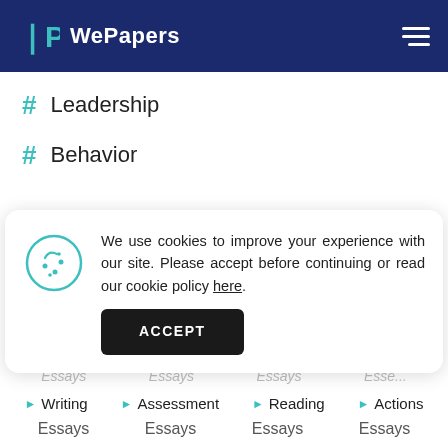WePapers
# Leadership
# Behavior
We use cookies to improve your experience with our site. Please accept before continuing or read our cookie policy here.
ACCEPT
Essays  Essays  Essays  Essays
Writing  Assessment  Reading  Actions
Essays  Essays  Essays  Essays